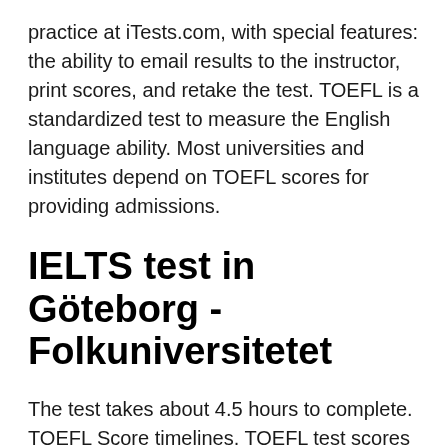practice at iTests.com, with special features: the ability to email results to the instructor, print scores, and retake the test. TOEFL is a standardized test to measure the English language ability. Most universities and institutes depend on TOEFL scores for providing admissions.
IELTS test in Göteborg - Folkuniversitetet
The test takes about 4.5 hours to complete. TOEFL Score timelines. TOEFL test scores are not published immediately. They are posted online approximately 6 days after the test.